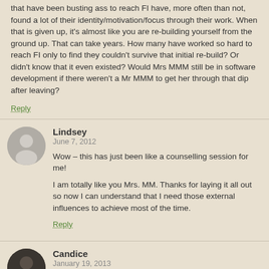that have been busting ass to reach FI have, more often than not, found a lot of their identity/motivation/focus through their work. When that is given up, it's almost like you are re-building yourself from the ground up. That can take years. How many have worked so hard to reach FI only to find they couldn't survive that initial re-build? Or didn't know that it even existed? Would Mrs MMM still be in software development if there weren't a Mr MMM to get her through that dip after leaving?
Reply
Lindsey
June 7, 2012
Wow – this has just been like a counselling session for me!

I am totally like you Mrs. MM. Thanks for laying it all out so now I can understand that I need those external influences to achieve most of the time.
Reply
Candice
January 19, 2013